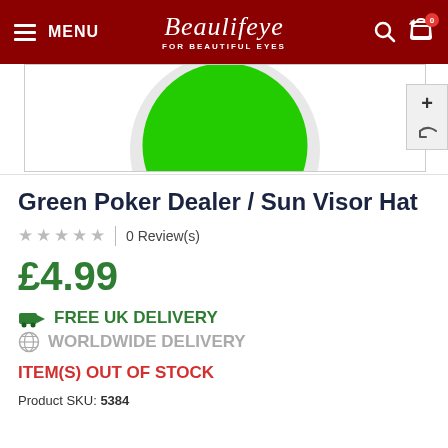MENU | Beautifeye For Beautiful Eyes | search | cart 0
[Figure (photo): Partial product photo showing top of a green and white poker dealer / sun visor hat against white background, with zoom (+) and back arrow controls on the right side]
Green Poker Dealer / Sun Visor Hat
★★★★★ | 0 Review(s)
£4.99
FREE UK DELIVERY
WORLDWIDE DELIVERY
ITEM(S) OUT OF STOCK
Product SKU: 5384